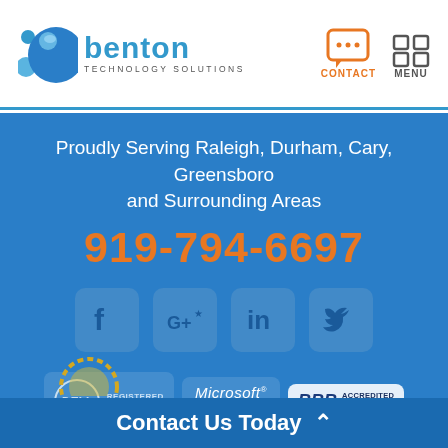[Figure (logo): Benton Technology Solutions logo with blue water droplet bubbles and blue text]
[Figure (infographic): Contact icon (orange speech bubble) and Menu icon (dark grid squares)]
Proudly Serving Raleigh, Durham, Cary, Greensboro and Surrounding Areas
919-794-6697
[Figure (infographic): Social media icons: Facebook, Google+, LinkedIn, Twitter in light blue rounded square buttons]
[Figure (infographic): Partner badges: Dell Registered Partner, Microsoft Certified Professional, BBB Accredited Business]
Contact Us Today